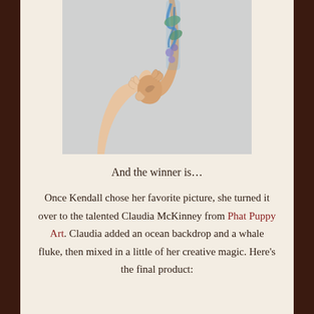[Figure (photo): Two people holding hands; one arm has a colorful tattoo sleeve with ocean/nature motifs on a light gray background]
And the winner is…
Once Kendall chose her favorite picture, she turned it over to the talented Claudia McKinney from Phat Puppy Art. Claudia added an ocean backdrop and a whale fluke, then mixed in a little of her creative magic. Here's the final product: